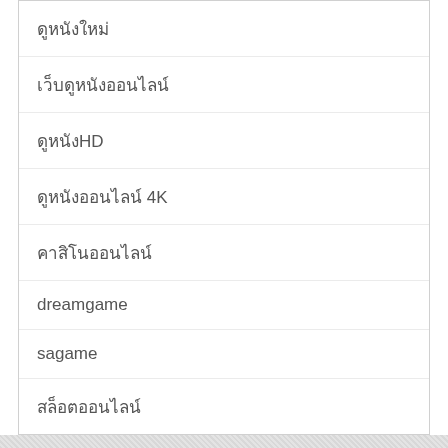ดูหนังใหม่
เว็บดูหนังออนไลน์
ดูหนังHD
ดูหนังออนไลน์ 4K
คาสิโนออนไลน์
dreamgame
sagame
สล็อตออนไลน์
ฝรั่งโชว์เสียว
หนังเกย์มาใหม่